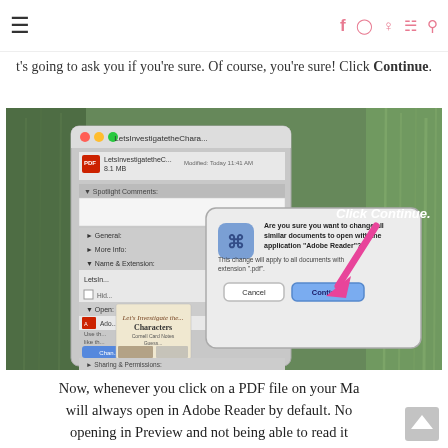≡  [social icons: f, Instagram, Pinterest, cart, search]
t's going to ask you if you're sure. Of course, you're sure! Click Continue.
[Figure (screenshot): Mac OS X screenshot showing a Finder info panel for a PDF file named LetsInvestigatetheChara... 8.1 MB, with a dialog box asking 'Are you sure you want to change all similar documents to open with the application Adobe Reader?' with Cancel and Continue buttons. A pink arrow points to the Continue button with handwritten text 'Click Continue.' A lavender/wheat field is visible in the background.]
Now, whenever you click on a PDF file on your Ma will always open in Adobe Reader by default. No opening in Preview and not being able to read it